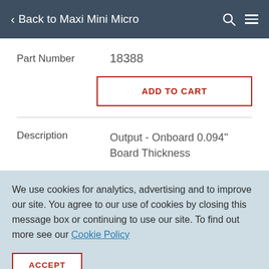< Back to Maxi Mini Micro
| Part Number | 18388 |
| Description | Output - Onboard 0.094" Board Thickness |
We use cookies for analytics, advertising and to improve our site. You agree to our use of cookies by closing this message box or continuing to use our site. To find out more see our Cookie Policy
ACCEPT